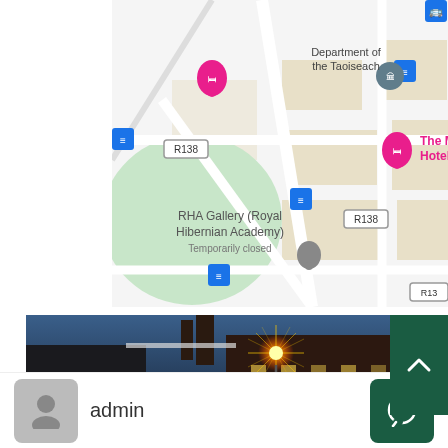[Figure (map): Google Maps screenshot showing area around Department of the Taoiseach, RHA Gallery (Royal Hibernian Academy) Temporarily closed, The M Hotel, with bus stop icons and road label R138]
[Figure (photo): Night-time photograph of a building exterior with a bright starburst street light against a twilight blue sky]
admin